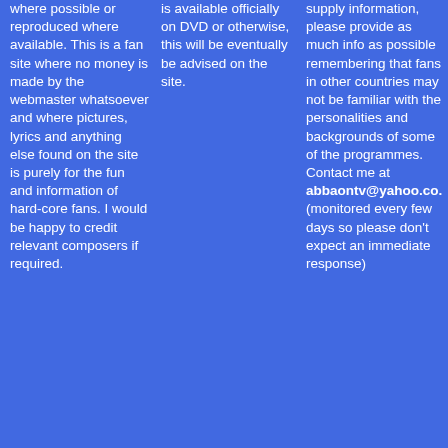where possible or reproduced where available. This is a fan site where no money is made by the webmaster whatsoever and where pictures, lyrics and anything else found on the site is purely for the fun and information of hard-core fans. I would be happy to credit relevant composers if required.
is available officially on DVD or otherwise, this will be eventually be advised on the site.
supply information, please provide as much info as possible remembering that fans in other countries may not be familiar with the personalities and backgrounds of some of the programmes. Contact me at abbaontv@yahoo.co. (monitored every few days so please don't expect an immediate response)